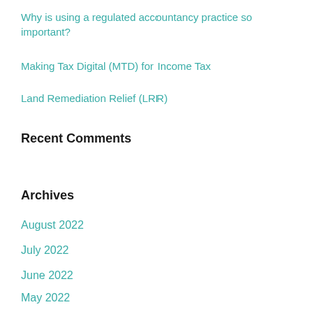Why is using a regulated accountancy practice so important?
Making Tax Digital (MTD) for Income Tax
Land Remediation Relief (LRR)
Recent Comments
Archives
August 2022
July 2022
June 2022
May 2022
April 2022